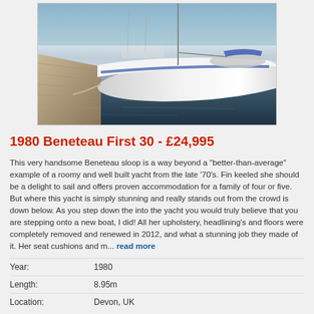[Figure (photo): Photograph of a 1980 Beneteau First 30 white sailing yacht moored at a dock, viewed from the side showing the hull and marina in the background]
1980 Beneteau First 30 - £24,995
This very handsome Beneteau sloop is a way beyond a "better-than-average" example of a roomy and well built yacht from the late '70's. Fin keeled she should be a delight to sail and offers proven accommodation for a family of four or five. But where this yacht is simply stunning and really stands out from the crowd is down below. As you step down the into the yacht you would truly believe that you are stepping onto a new boat, I did! All her upholstery, headlining's and floors were completely removed and renewed in 2012, and what a stunning job they made of it. Her seat cushions and m... read more
| Field | Value |
| --- | --- |
| Year: | 1980 |
| Length: | 8.95m |
| Location: | Devon, UK |